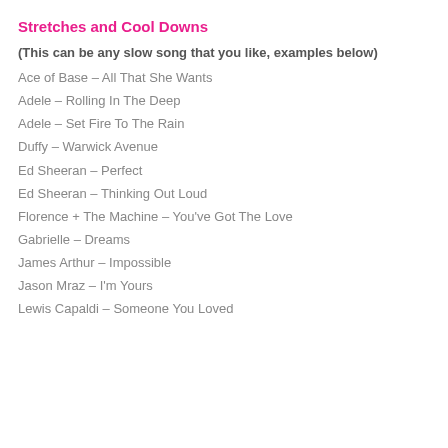Stretches and Cool Downs
(This can be any slow song that you like, examples below)
Ace of Base – All That She Wants
Adele – Rolling In The Deep
Adele – Set Fire To The Rain
Duffy – Warwick Avenue
Ed Sheeran – Perfect
Ed Sheeran – Thinking Out Loud
Florence + The Machine – You've Got The Love
Gabrielle – Dreams
James Arthur – Impossible
Jason Mraz – I'm Yours
Lewis Capaldi – Someone You Loved